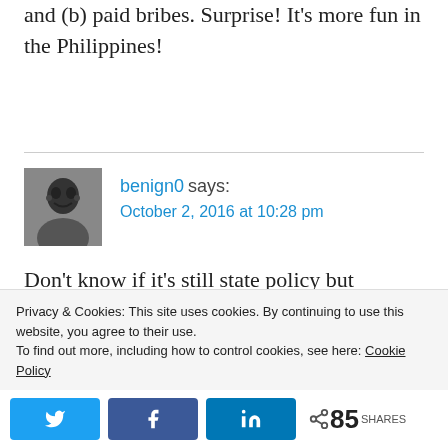and (b) paid bribes. Surprise! It's more fun in the Philippines!
benign0 says:
October 2, 2016 at 10:28 pm

Don't know if it's still state policy but Singapore encouraged its more affluent citizens to procreate and offered less incentives to lower income people to do so.
Privacy & Cookies: This site uses cookies. By continuing to use this website, you agree to their use.
To find out more, including how to control cookies, see here: Cookie Policy
85 SHARES